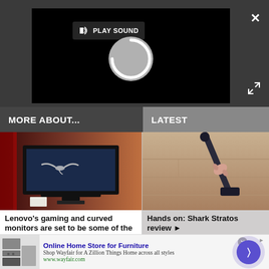[Figure (screenshot): Video player area with dark background, PLAY SOUND button with speaker icon, a circular spinner/loading indicator, a close X button in top right, and expand arrows in bottom right]
MORE ABOUT...
LATEST
[Figure (photo): Lenovo gaming monitor displaying a bird in flight on a dark dramatic background]
Lenovo's gaming and curved monitors are set to be some of the best in
[Figure (photo): Person holding a Shark Stratos cordless vacuum cleaner over a wooden floor]
Hands on: Shark Stratos review ▶
[Figure (infographic): Wayfair advertisement: Online Home Store for Furniture. Shop Wayfair for A Zillion Things Home across all styles. www.wayfair.com]